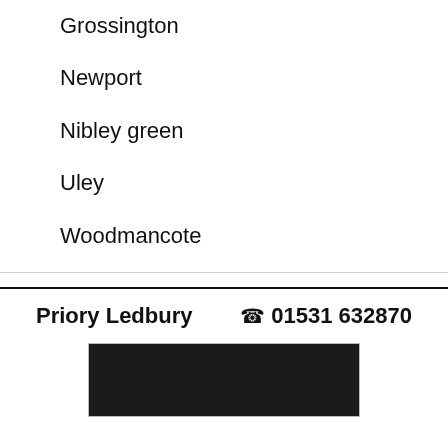Grossington
Newport
Nibley green
Uley
Woodmancote
Priory Ledbury   ☎01531 632870
[Figure (photo): Dark/black image placeholder for Priory Ledbury practice]